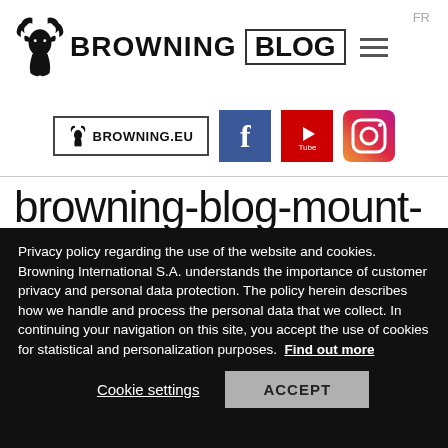FR
[Figure (logo): Browning deer logo with BROWNING BLOG text header]
[Figure (infographic): Social media icons row: BROWNING.EU button, Facebook, YouTube, Instagram]
browning-blog-mount-
Privacy policy regarding the use of the website and cookies. Browning International S.A. understands the importance of customer privacy and personal data protection. The policy herein describes how we handle and process the personal data that we collect. In continuing your navigation on this site, you accept the use of cookies for statistical and personalization purposes. Find out more
Cookie settings   ACCEPT